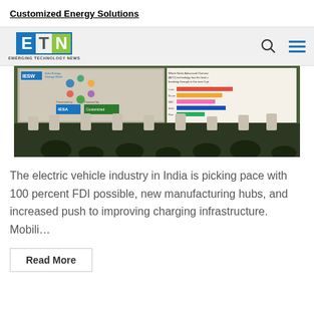Customized Energy Solutions
[Figure (logo): ETN Emerging Technology News logo with blue E, gray T, green N letters in bordered box, plus search and hamburger menu icons]
[Figure (photo): Conference stage photo showing IESW (India Energy Storage Week) event with IESA and Customized Energy Solutions branding, panel of speakers seated on stage, audience in foreground, presentation slide visible on screen about Niche Advanced Chemistry technology]
The electric vehicle industry in India is picking pace with 100 percent FDI possible, new manufacturing hubs, and increased push to improving charging infrastructure.   Mobili…
Read More